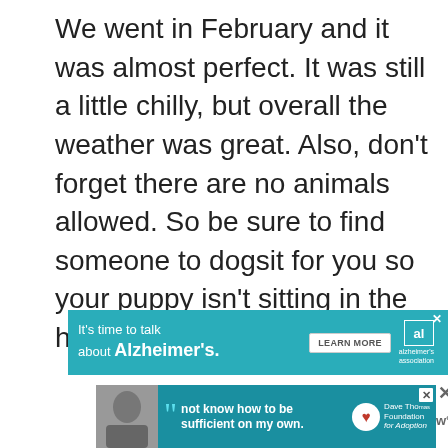We went in February and it was almost perfect. It was still a little chilly, but overall the weather was great. Also, don't forget there are no animals allowed. So be sure to find someone to dogsit for you so your puppy isn't sitting in the hot car while you are hiking.
[Figure (other): Alzheimer's Association advertisement banner: teal background, text 'It's time to talk about Alzheimer's.' with LEARN MORE button and Alzheimer's Association logo]
[Figure (other): Dave Thomas Foundation for Adoption advertisement banner with quote text 'not know how to be sufficient on my own.' and a person photo on the left]